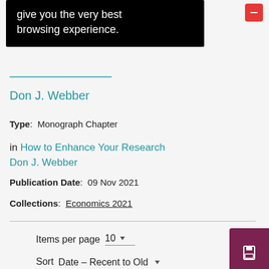[Figure (screenshot): Black tooltip banner with white text reading 'give you the very best browsing experience.' and a red close button in top right]
give you the very best browsing experience.
Don J. Webber
Type:  Monograph Chapter
in How to Enhance Your Research Don J. Webber
Publication Date:  09 Nov 2021
Collections:  Economics 2021
Items per page  10
Sort by  Date – Recent to Old